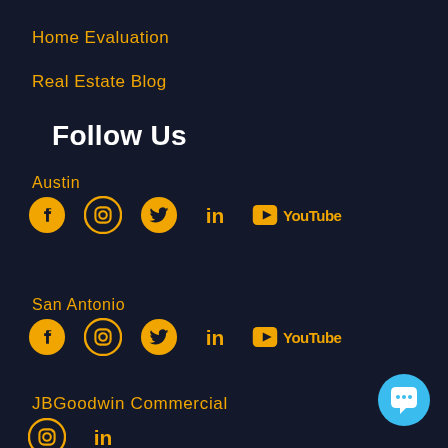Home Evaluation
Real Estate Blog
Follow Us
Austin
[Figure (infographic): Row of social media icons for Austin: Facebook, Instagram, Twitter, LinkedIn, YouTube]
San Antonio
[Figure (infographic): Row of social media icons for San Antonio: Facebook, Instagram, Twitter, LinkedIn, YouTube]
JBGoodwin Commercial
[Figure (infographic): Row of social media icons for JBGoodwin Commercial: Instagram, LinkedIn]
[Figure (other): Chat bubble button in bottom right corner]